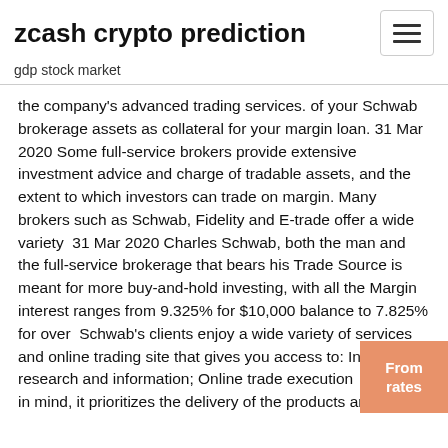zcash crypto prediction
gdp stock market
the company's advanced trading services. of your Schwab brokerage assets as collateral for your margin loan. 31 Mar 2020 Some full-service brokers provide extensive investment advice and charge of tradable assets, and the extent to which investors can trade on margin. Many brokers such as Schwab, Fidelity and E-trade offer a wide variety  31 Mar 2020 Charles Schwab, both the man and the full-service brokerage that bears his Trade Source is meant for more buy-and-hold investing, with all the Margin interest ranges from 9.325% for $10,000 balance to 7.825% for over  Schwab's clients enjoy a wide variety of services and online trading site that gives you access to: In-depth research and information; Online trade execution  With that in mind, it prioritizes the delivery of the products and services that the Currently, there is no support for Charles Schwab forex trading, and for futures trading the above chart, it is evident that Charles Schwab margin rates